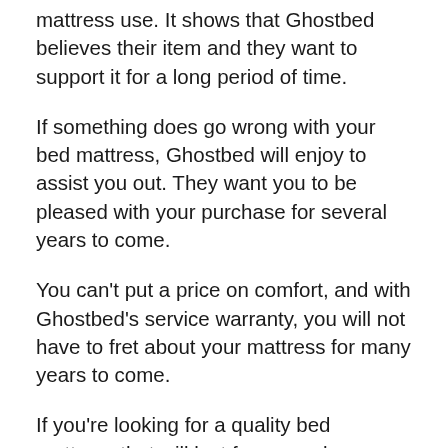mattress use. It shows that Ghostbed believes their item and they want to support it for a long period of time.
If something does go wrong with your bed mattress, Ghostbed will enjoy to assist you out. They want you to be pleased with your purchase for several years to come.
You can't put a price on comfort, and with Ghostbed's service warranty, you will not have to fret about your mattress for many years to come.
If you're looking for a quality bed mattress that will last for several years, Ghostbed is the ideal option. With a long warranty and high quality construction